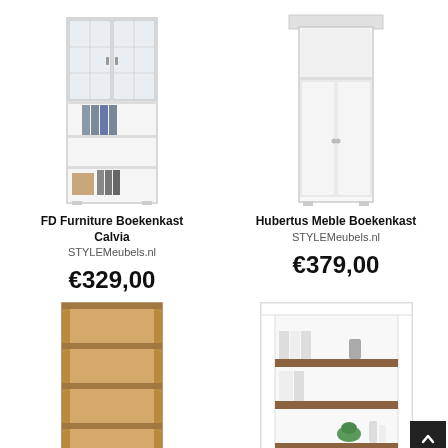[Figure (photo): White bookcase with frosted glass upper doors and open lower shelves containing binders and items - FD Furniture Boekenkast Calvia]
FD Furniture Boekenkast Calvia
STYLEMeubels.nl
€329,00
[Figure (photo): White tall cabinet/bookcase with two doors and a top shelf overhang - Hubertus Meble Boekenkast]
Hubertus Meble Boekenkast
STYLEMeubels.nl
€379,00
[Figure (photo): Oak/wood colored open bookcase with four shelves]
[Figure (photo): White framed bookcase with brown wood shelves containing books and decorative items]